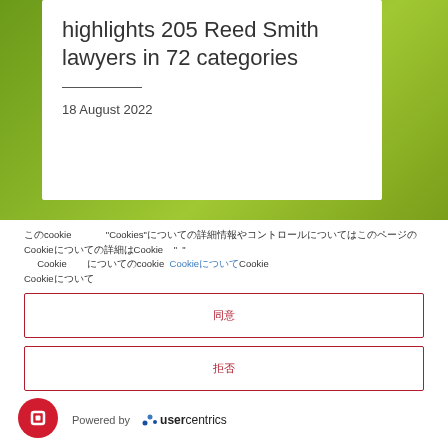highlights 205 Reed Smith lawyers in 72 categories
18 August 2022
このcookie  "Cookies"についての詳細情報やコントロールについてはこのページのCookieについての詳細はCookie  "  "  Cookie　　についてのcookie　についてのCookieについてCookieについて
同意
拒否
Powered by usercentrics